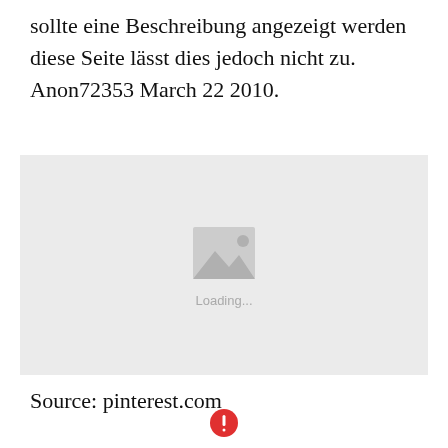sollte eine Beschreibung angezeigt werden diese Seite lässt dies jedoch nicht zu. Anon72353 March 22 2010.
[Figure (photo): Image placeholder with loading indicator showing a grey background with a mountain/image icon and 'Loading...' text]
Source: pinterest.com